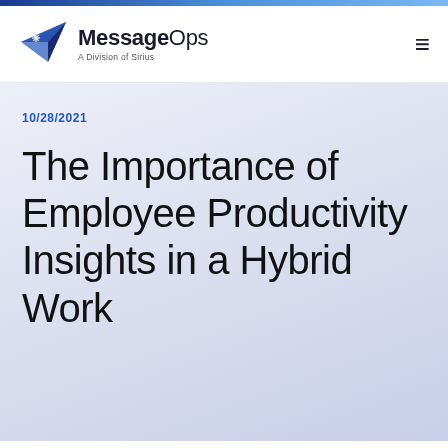[Figure (logo): MessageOps logo — paper airplane icon in dark blue/navy with a star, next to text 'MessageOps' and subtitle 'A Division of Sirius']
10/28/2021
The Importance of Employee Productivity Insights in a Hybrid Work